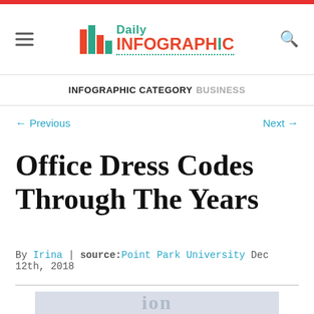Daily Infographic
INFOGRAPHIC CATEGORY BUSINESS
← Previous    Next →
Office Dress Codes Through The Years
By Irina | source:Point Park University Dec 12th, 2018
[Figure (photo): Partial bottom image of an infographic about office dress codes, showing large decorative text partially visible]